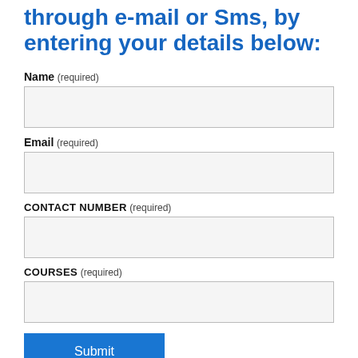through e-mail or Sms, by entering your details below:
Name (required)
[Figure (other): Empty input field for Name]
Email (required)
[Figure (other): Empty input field for Email]
CONTACT NUMBER (required)
[Figure (other): Empty input field for Contact Number]
COURSES (required)
[Figure (other): Empty input field for Courses]
Submit
Location